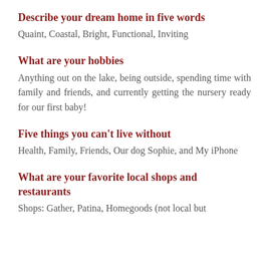Describe your dream home in five words
Quaint, Coastal, Bright, Functional, Inviting
What are your hobbies
Anything out on the lake, being outside, spending time with family and friends, and currently getting the nursery ready for our first baby!
Five things you can't live without
Health, Family, Friends, Our dog Sophie, and My iPhone
What are your favorite local shops and restaurants
Shops: Gather, Patina, Homegoods (not local but